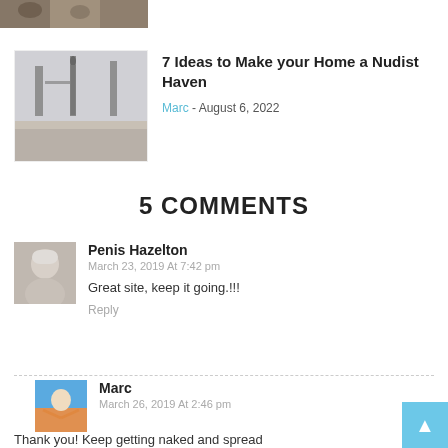[Figure (photo): Partial image at top showing people around a table with food]
[Figure (photo): Interior home/room photo with kitchen/dining area]
7 Ideas to Make your Home a Nudist Haven
Marc - August 6, 2022
5 COMMENTS
[Figure (photo): Avatar photo of commenter Penis Hazelton]
Penis Hazelton
March 23, 2019 At 7:42 pm
Great site, keep it going.!!!
Reply
[Figure (photo): Avatar photo of commenter Marc showing person with arms spread outdoors]
Marc
March 26, 2019 At 2:46 pm
Thank you! Keep getting naked and spread